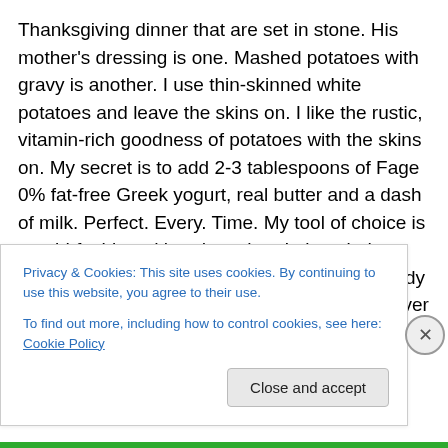Thanksgiving dinner that are set in stone. His mother's dressing is one. Mashed potatoes with gravy is another. I use thin-skinned white potatoes and leave the skins on. I like the rustic, vitamin-rich goodness of potatoes with the skins on. My secret is to add 2-3 tablespoons of Fage 0% fat-free Greek yogurt, real butter and a dash of milk. Perfect. Every. Time. My tool of choice is an old-fashioned hand masher. I also tried out the new OXO butter dish. It's made with a sturdy non-slip metal base and has a clear acrylic cover that keeps funky fridge odors at bay. If you have fridge funk, that is. I'm not judging. This is a
Privacy & Cookies: This site uses cookies. By continuing to use this website, you agree to their use.
To find out more, including how to control cookies, see here: Cookie Policy